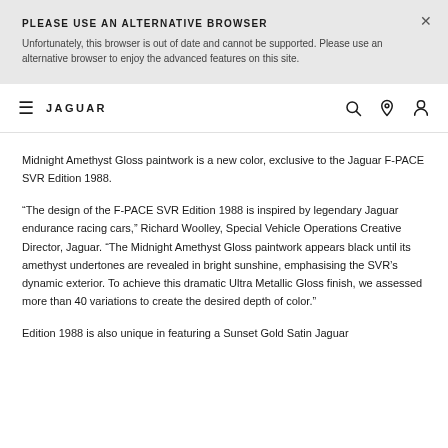PLEASE USE AN ALTERNATIVE BROWSER
Unfortunately, this browser is out of date and cannot be supported. Please use an alternative browser to enjoy the advanced features on this site.
JAGUAR
Midnight Amethyst Gloss paintwork is a new color, exclusive to the Jaguar F-PACE SVR Edition 1988.
“The design of the F-PACE SVR Edition 1988 is inspired by legendary Jaguar endurance racing cars,” Richard Woolley, Special Vehicle Operations Creative Director, Jaguar. “The Midnight Amethyst Gloss paintwork appears black until its amethyst undertones are revealed in bright sunshine, emphasising the SVR’s dynamic exterior. To achieve this dramatic Ultra Metallic Gloss finish, we assessed more than 40 variations to create the desired depth of color.”
Edition 1988 is also unique in featuring a Sunset Gold Satin Jaguar